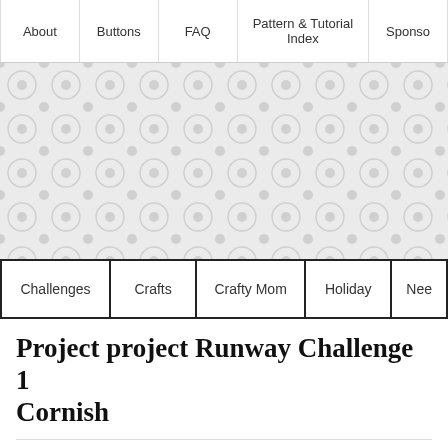About | Buttons | FAQ | Pattern & Tutorial Index | Sponsor
[Figure (illustration): Decorative background pattern with repeating circular dot motifs on light gray background]
Challenges | Crafts | Crafty Mom | Holiday | Nee
Project project Runway Challenge 1 Cornish
by Susi on October 11, 2012 with 3 Comments in Challenges , Crafty Mom , Needlecraft